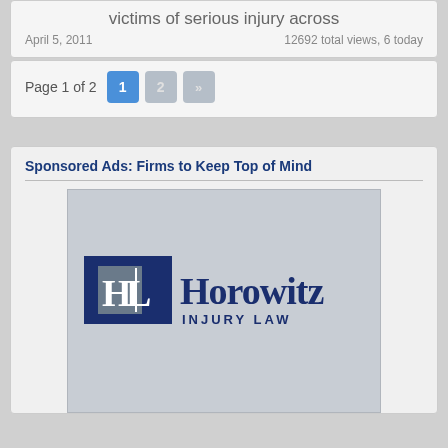victims of serious injury across
April 5, 2011   12692 total views, 6 today
Page 1 of 2
Sponsored Ads: Firms to Keep Top of Mind
[Figure (logo): Horowitz Injury Law logo with HL monogram icon on grey background]